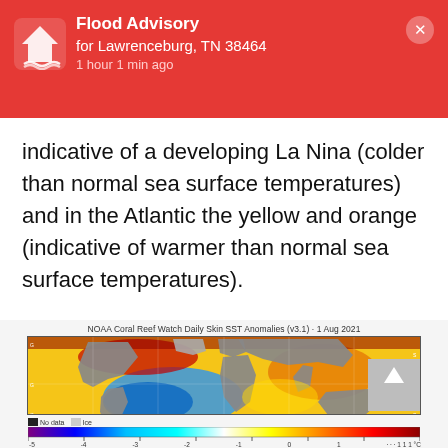Flood Advisory
for Lawrenceburg, TN 38464
1 hour 1 min ago
indicative of a developing La Nina (colder than normal sea surface temperatures) and in the Atlantic the yellow and orange (indicative of warmer than normal sea surface temperatures).
[Figure (map): NOAA Coral Reef Watch Daily Skin SST Anomalies (v3.1) - 1 Aug 2021 world map showing sea surface temperature anomalies. Blue areas in the Pacific indicate colder than normal (La Nina), yellow/orange/red in the Atlantic indicate warmer than normal temperatures. Includes a color scale bar from -5 to 5 degrees Celsius.]
NOAA Coral Reef Watch Daily Skin SST Anomalies (v3.1) - 1 Aug 2021